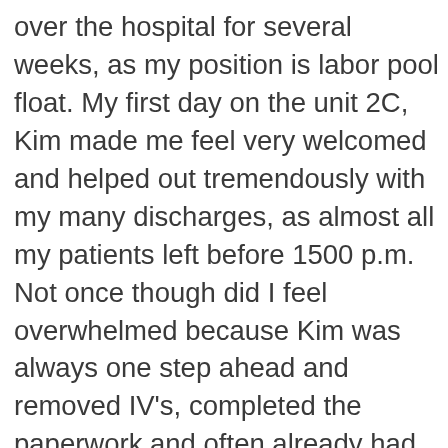over the hospital for several weeks, as my position is labor pool float. My first day on the unit 2C, Kim made me feel very welcomed and helped out tremendously with my many discharges, as almost all my patients left before 1500 p.m. Not once though did I feel overwhelmed because Kim was always one step ahead and removed IV's, completed the paperwork and often already had transport arranged by the time I was finally caught up with charting. With that being said I have worked with other charge nurses at Phoebe and although they were helpful with discharges they lacked the over all happiness and willingness to help. Kim is very cheerful to work with and sets a positive mood for the day that